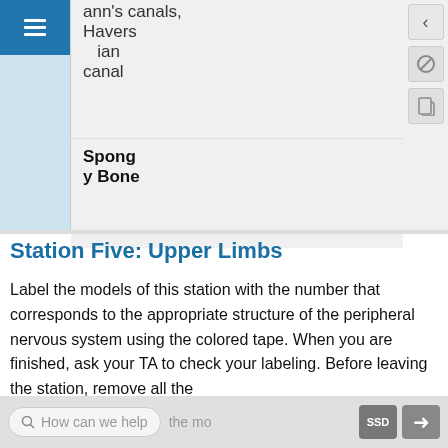| ann's canals, Haversian canal |
| Spongy Bone |
Station Five: Upper Limbs
Label the models of this station with the number that corresponds to the appropriate structure of the peripheral nervous system using the colored tape. When you are finished, ask your TA to check your labeling. Before leaving the station, remove all the